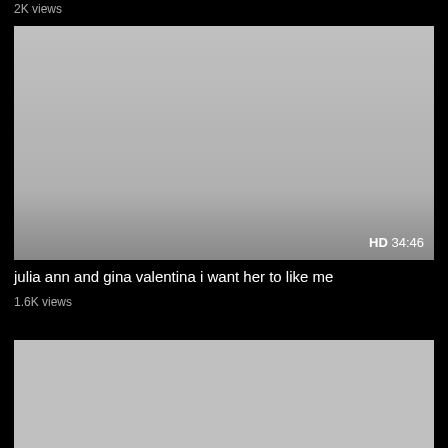2K views
[Figure (screenshot): Video thumbnail placeholder - grey rectangle with HD 34:46 badge in bottom right]
julia ann and gina valentina i want her to like me
1.6K views
[Figure (screenshot): Video thumbnail placeholder - grey rectangle, partially visible]